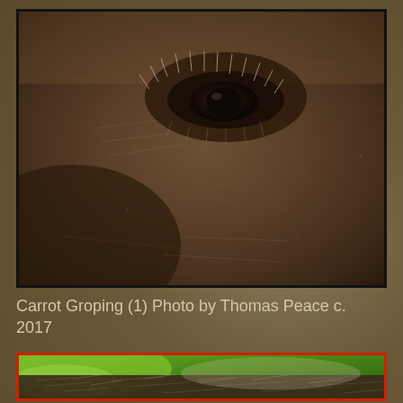[Figure (photo): Extreme close-up photograph of a horse or donkey eye and surrounding fur, showing detailed eyelashes and dark brown fur texture. Black border frame.]
Carrot Groping (1) Photo by Thomas Peace c. 2017
[Figure (photo): Partial photograph showing the top of a dark animal's head with grey/white fur, with green foliage visible in the background. Red border frame. Only the top portion is visible.]